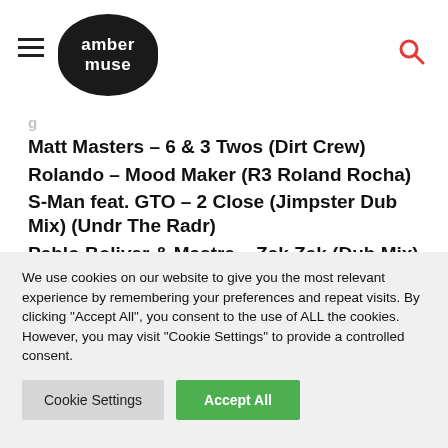amber muse
Matt Masters – 6 & 3 Twos (Dirt Crew)
Rolando – Mood Maker (R3 Roland Rocha)
S-Man feat. GTO – 2 Close (Jimpster Dub Mix) (Undr The Radr)
Pablo Bolivar & Mastra – Zak Zak (Dub Mix) (Sirion)
Dino Lenny – This is not the End (Original Mix)
We use cookies on our website to give you the most relevant experience by remembering your preferences and repeat visits. By clicking "Accept All", you consent to the use of ALL the cookies. However, you may visit "Cookie Settings" to provide a controlled consent.